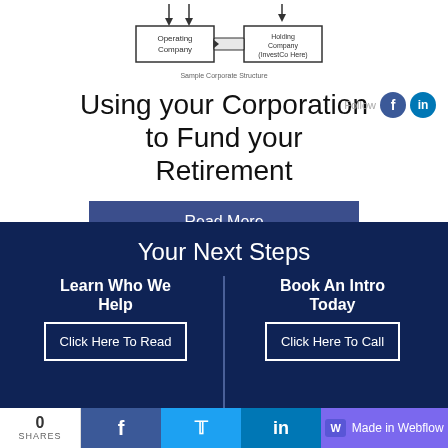[Figure (schematic): Simple Corporate Structure diagram showing Operating Company and Holding Company (InvestCo Here) boxes with arrows]
Using your Corporation to Fund your Retirement
Read More
Your Next Steps
Learn Who We Help
Click Here To Read
Book An Intro Today
Click Here To Call
0 SHARES | f | t | in | Made in Webflow